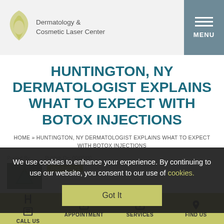[Figure (logo): Dermatology & Cosmetic Laser Center logo with stylized face silhouette]
HUNTINGTON, NY DERMATOLOGIST EXPLAINS WHAT TO EXPECT WITH BOTOX INJECTIONS
HOME » HUNTINGTON, NY DERMATOLOGIST EXPLAINS WHAT TO EXPECT WITH BOTOX INJECTIONS
We use cookies to enhance your experience. By continuing to use our website, you consent to our use of cookies.
Got It
Posted By:
Treatments
acial expressions are a part of effective...
CALL US   APPOINTMENT   SERVICES   FIND US